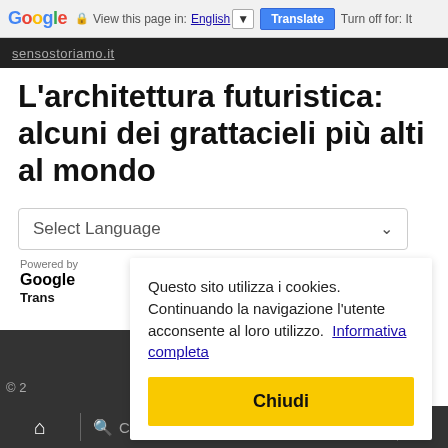Google  View this page in: English  Translate  Turn off for: It
L'architettura futuristica: alcuni dei grattacieli più alti al mondo
Select Language
Powered by
Google
Trans
Questo sito utilizza i cookies. Continuando la navigazione l'utente acconsente al loro utilizzo.  Informativa completa
Chiudi
© 2